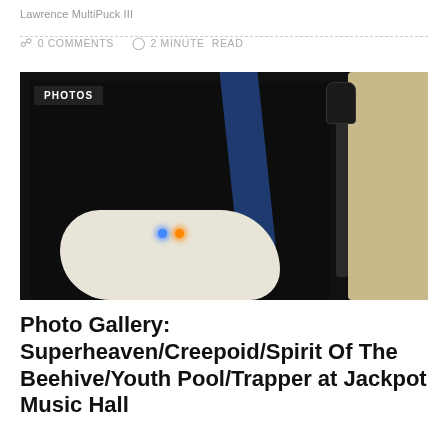Lawrence MultiPuck III
0 COMMENTS   2 MINUTE READ
[Figure (photo): Close-up photo of a guitarist on stage in a dark setting. The person is wearing a black t-shirt with a blue guitar strap. A white electric guitar is partially visible at the bottom. A microphone stand is visible on the right. Two small LEDs (blue and orange) are visible on the left. The image has a 'PHOTOS' label badge in the upper left corner.]
Photo Gallery: Superheaven/Creepoid/Spirit Of The Beehive/Youth Pool/Trapper at Jackpot Music Hall